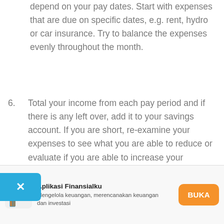depend on your pay dates. Start with expenses that are due on specific dates, e.g. rent, hydro or car insurance. Try to balance the expenses evenly throughout the month.
6. Total your income from each pay period and if there is any left over, add it to your savings account. If you are short, re-examine your expenses to see what you are able to reduce or evaluate if you are able to increase your income.
[Figure (other): Blue close/dismiss button with white X, overlaid on left side of screen]
[Figure (other): App advertisement banner for Aplikasi Finansialku with logo, description in Indonesian, and orange BUKA button]